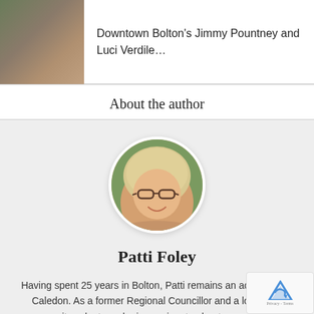[Figure (photo): Two people standing together, appears to be a promo photo for Downtown Bolton's Jimmy Pountney and Luci Verdile]
Downtown Bolton's Jimmy Pountney and Luci Verdile…
About the author
[Figure (photo): Circular portrait photo of Patti Foley, a woman with blonde hair and glasses, smiling]
Patti Foley
Having spent 25 years in Bolton, Patti remains an advocate for Caledon. As a former Regional Councillor and a long-time community volunteer she is passionate about communicating information about its issues, news, and people, non-profits and businesses.